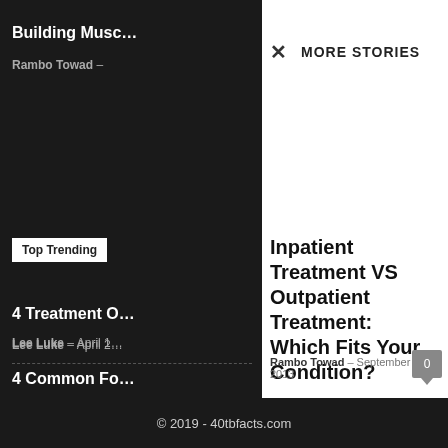Building Musc…
Rambo Towad -
Top Trending
4 Treatment O…
Lee Luke - April 2…
4 Common Fo…
Lee Luke - April 1…
Find out whic… not?
Rambo Towad -
MORE STORIES
Inpatient Treatment VS Outpatient Treatment: Which Fits Your Condition?
Rambo Towad - September 6, 2013
© 2019 - 40tbfacts.com